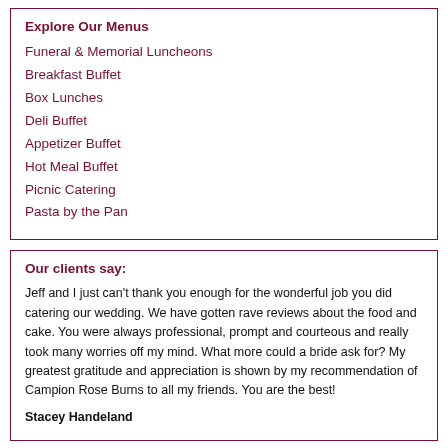Explore Our Menus
Funeral & Memorial Luncheons
Breakfast Buffet
Box Lunches
Deli Buffet
Appetizer Buffet
Hot Meal Buffet
Picnic Catering
Pasta by the Pan
Our clients say:
Jeff and I just can't thank you enough for the wonderful job you did catering our wedding. We have gotten rave reviews about the food and cake. You were always professional, prompt and courteous and really took many worries off my mind. What more could a bride ask for? My greatest gratitude and appreciation is shown by my recommendation of Campion Rose Burns to all my friends. You are the best!
Stacey Handeland